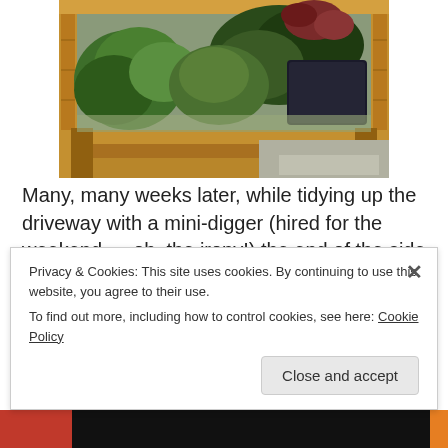[Figure (photo): Photograph of a wooden raised garden bed filled with various green plants, herbs, and small flowering plants, viewed from above at an angle, sitting on a driveway or patio surface.]
Many, many weeks later, while tidying up the driveway with a mini-digger (hired for the weekend…..oh, the irony!) the end of the side border, which was a jungle of eight years worth of weeds, shrubs and goodness knows what else, was dug out and scraped back to the soil. Mr Mac
Privacy & Cookies: This site uses cookies. By continuing to use this website, you agree to their use.
To find out more, including how to control cookies, see here: Cookie Policy
Close and accept